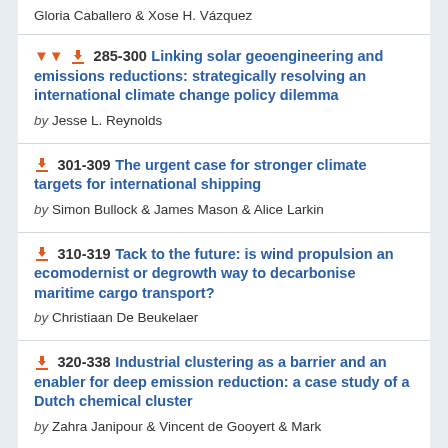Gloria Caballero & Xose H. Vázquez
285-300 Linking solar geoengineering and emissions reductions: strategically resolving an international climate change policy dilemma by Jesse L. Reynolds
301-309 The urgent case for stronger climate targets for international shipping by Simon Bullock & James Mason & Alice Larkin
310-319 Tack to the future: is wind propulsion an ecomodernist or degrowth way to decarbonise maritime cargo transport? by Christiaan De Beukelaer
320-338 Industrial clustering as a barrier and an enabler for deep emission reduction: a case study of a Dutch chemical cluster by Zahra Janipour & Vincent de Gooyert & Mark